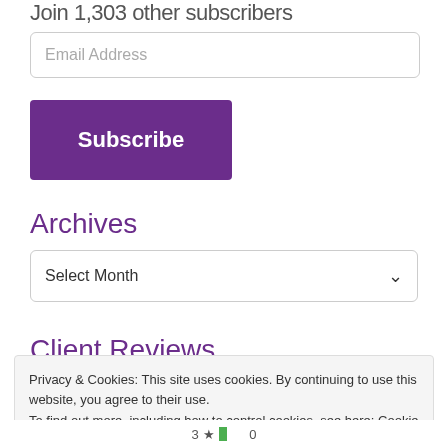Join 1,303 other subscribers
Email Address
Subscribe
Archives
Select Month
Client Reviews
Privacy & Cookies: This site uses cookies. By continuing to use this website, you agree to their use. To find out more, including how to control cookies, see here: Cookie Policy
Close and accept